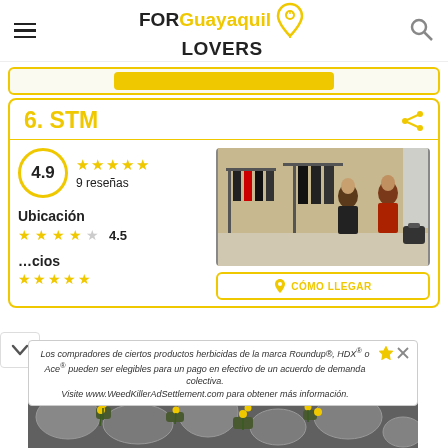FOR Guayaquil LOVERS
6. STM
4.9
9 reseñas
Ubicación
★★★★☆ 4.5
Precios
[Figure (photo): Interior of STM clothing store showing racks of clothes and customers browsing]
CÓMO LLEGAR
Los compradores de ciertos productos herbicidas de la marca Roundup®, HDX® o Ace® pueden ser elegibles para un pago en efectivo de un acuerdo de demanda colectiva. Visite www.WeedKillerAdSettlement.com para obtener más información.
[Figure (photo): Outdoor stone path with small yellow flowers growing between stones]